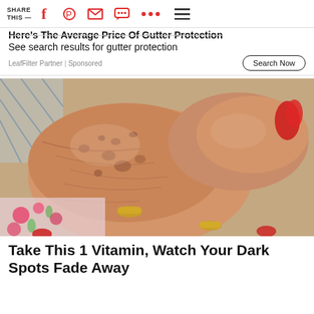SHARE THIS —
Here's The Average Price Of Gutter Protection
See search results for gutter protection
LeafFilter Partner | Sponsored
[Figure (photo): Close-up photo of elderly wrinkled hands with age spots, wearing gold rings, with red painted fingernails visible, resting on a floral fabric.]
Take This 1 Vitamin, Watch Your Dark Spots Fade Away